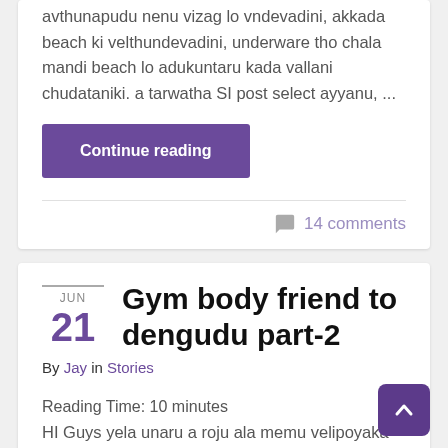avthunapudu nenu vizag lo vndevadini, akkada beach ki velthundevadini, underware tho chala mandi beach lo adukuntaru kada vallani chudataniki. a tarwatha SI post select ayyanu, ...
Continue reading
14 comments
Gym body friend to dengudu part-2
By Jay in Stories
Reading Time: 10 minutes
HI Guys yela unaru a roju ala memu velipoyaka oka